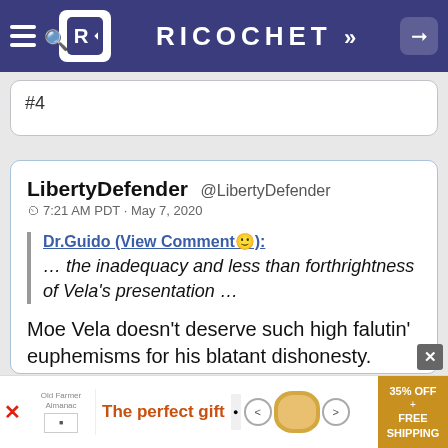RICOCHET
#4
LibertyDefender @LibertyDefender
7:21 AM PDT · May 7, 2020

Dr.Guido (View Comment😊):
... the inadequacy and less than forthrightness of Vela's presentation ...

Moe Vela doesn't deserve such high falutin' euphemisms for his blatant dishonesty.
[Figure (screenshot): Advertisement banner: 'The perfect gift' with product bowl image and '35% OFF + FREE SHIPPING' promo badge]